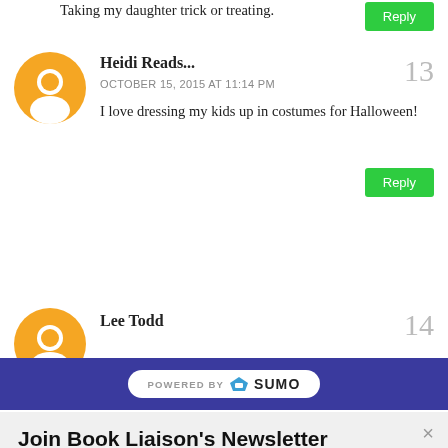Taking my daughter trick or treating.
Reply
Heidi Reads...
OCTOBER 15, 2015 AT 11:14 PM
I love dressing my kids up in costumes for Halloween!
Reply
[Figure (illustration): Orange blogger avatar icon]
13
14
Lee Todd
[Figure (logo): POWERED BY SUMO badge on blue bar]
Join Book Liaison's Newsletter
Signup today for the hottest in romance and urban fantasy.
Enter your email address
Subscribe Now